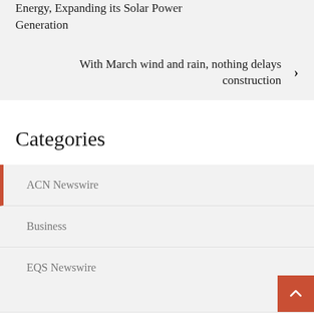Energy, Expanding its Solar Power Generation
With March wind and rain, nothing delays construction
Categories
ACN Newswire
Business
EQS Newswire